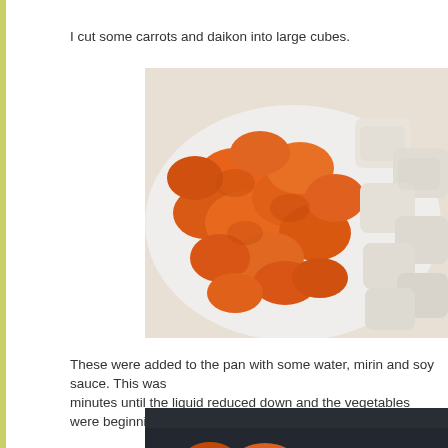I cut some carrots and daikon into large cubes.
[Figure (photo): A white plate with large cubed pieces of bright orange carrots on the left and white daikon radish cubes on the right, viewed from above on a white surface.]
These were added to the pan with some water, mirin and soy sauce. This was cooked for about 20 minutes until the liquid reduced down and the vegetables were beginning to br...
[Figure (photo): A dark pan/skillet containing carrot chunks and daikon pieces being cooked, with browning visible.]